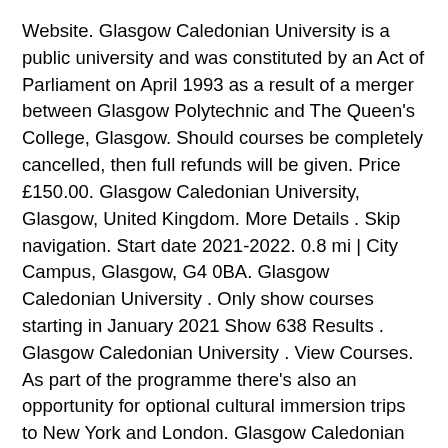Website. Glasgow Caledonian University is a public university and was constituted by an Act of Parliament on April 1993 as a result of a merger between Glasgow Polytechnic and The Queen's College, Glasgow. Should courses be completely cancelled, then full refunds will be given. Price £150.00. Glasgow Caledonian University, Glasgow, United Kingdom. More Details . Skip navigation. Start date 2021-2022. 0.8 mi | City Campus, Glasgow, G4 0BA. Glasgow Caledonian University . Only show courses starting in January 2021 Show 638 Results . Glasgow Caledonian University . View Courses. As part of the programme there's also an opportunity for optional cultural immersion trips to New York and London. Glasgow Caledonian University (GCU) was founded in 1993, after the merging of Glasgow Polytechnic with The Queen's College. Faculty. Student satisfaction 97%. Join a vibrant multi-cultural modern university in the centre of Glasgow. Courses related to Architecture, building, and planning Building Surveying (GCU Pathways) Glasgow Caledonian University . Glasgow Caledonian University has a network of